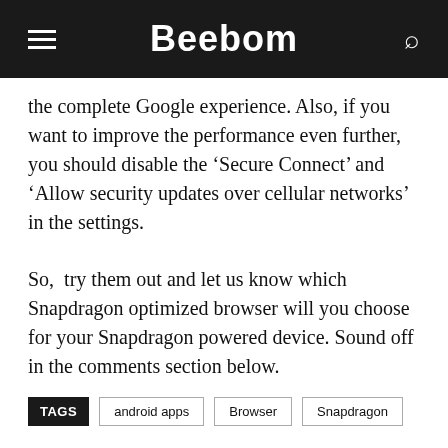Beebom
the complete Google experience. Also, if you want to improve the performance even further, you should disable the ‘Secure Connect’ and ‘Allow security updates over cellular networks’ in the settings.
So,  try them out and let us know which Snapdragon optimized browser will you choose for your Snapdragon powered device. Sound off in the comments section below.
TAGS  android apps  Browser  Snapdragon